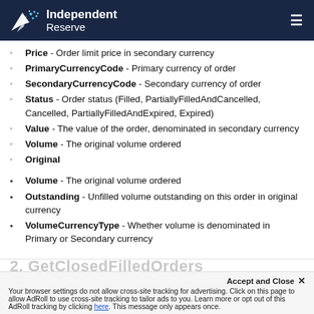Independent Reserve
Price - Order limit price in secondary currency
PrimaryCurrencyCode - Primary currency of order
SecondaryCurrencyCode - Secondary currency of order
Status - Order status (Filled, PartiallyFilledAndCancelled, Cancelled, PartiallyFilledAndExpired, Expired)
Value - The value of the order, denominated in secondary currency
Volume - The original volume ordered
Original
Volume - The original volume ordered
Outstanding - Unfilled volume outstanding on this order in original currency
VolumeCurrencyType - Whether volume is denominated in Primary or Secondary currency
2. GetClosedFilledOrders
Accept and Close ×
Your browser settings do not allow cross-site tracking for advertising. Click on this page to allow AdRoll to use cross-site tracking to tailor ads to you. Learn more or opt out of this AdRoll tracking by clicking here. This message only appears once.
Retrieves a page of a specified set of your Closed orders which